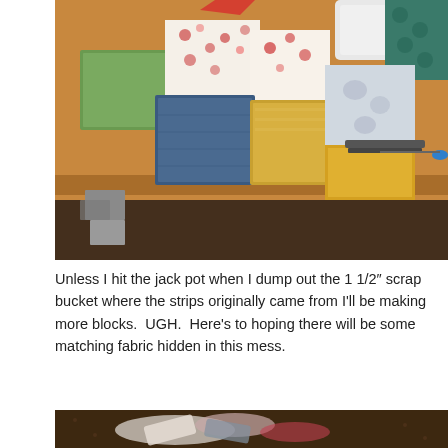[Figure (photo): Photo of fabric squares and quilt blocks arranged on a wooden table, with sewing supplies visible. Various patterned fabrics including floral prints, solid colors (green, blue, gold, grey), and a sewing machine visible at top right.]
Unless I hit the jack pot when I dump out the 1 1/2″ scrap bucket where the strips originally came from I'll be making more blocks.  UGH.  Here's to hoping there will be some matching fabric hidden in this mess.
[Figure (photo): Partial photo at bottom showing fabric scraps piled on a floor with a patterned carpet visible.]